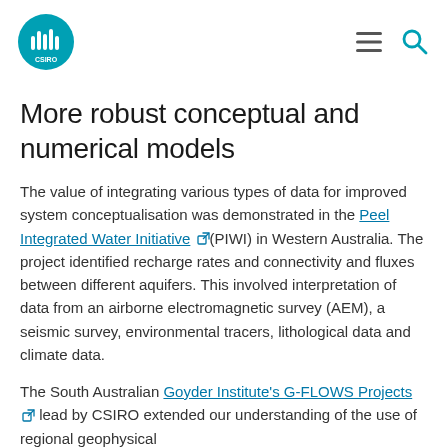CSIRO logo, hamburger menu, search icon
More robust conceptual and numerical models
The value of integrating various types of data for improved system conceptualisation was demonstrated in the Peel Integrated Water Initiative (PIWI) in Western Australia. The project identified recharge rates and connectivity and fluxes between different aquifers. This involved interpretation of data from an airborne electromagnetic survey (AEM), a seismic survey, environmental tracers, lithological data and climate data.
The South Australian Goyder Institute's G-FLOWS Projects lead by CSIRO extended our understanding of the use of regional geophysical data ...